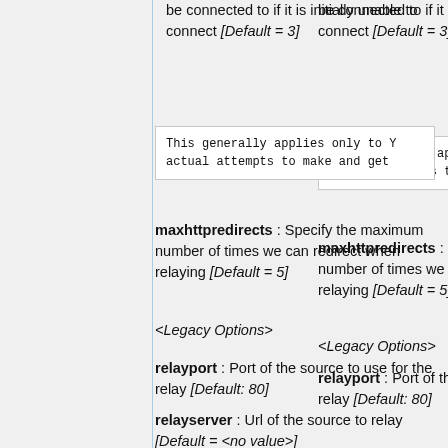be connected to if it is initially unable to connect [Default = 3]
This generally applies only to Y
actual attempts to make and get
maxhttpredirects : Specify the maximum number of times we can redirect when relaying [Default = 5]
<Legacy Options>
relayport : Port of the source to use for the relay [Default: 80]
relayserver : Url of the source to relay [Default = <no value>]
Using the stream configuration o
of setting up a relay. These opt
legacy configuration files. If f